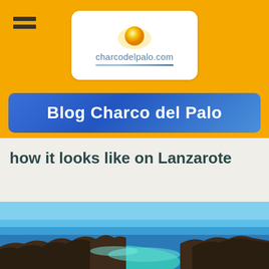[Figure (logo): charcodelpalo.com logo with sun graphic and blue underline on white rounded rectangle]
Blog Charco del Palo
how it looks like on Lanzarote
[Figure (photo): Aerial coastal photo of Lanzarote showing rocky volcanic coastline with turquoise sea and blue sky]